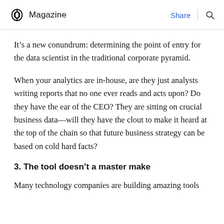Magazine | Share
It’s a new conundrum: determining the point of entry for the data scientist in the traditional corporate pyramid.
When your analytics are in-house, are they just analysts writing reports that no one ever reads and acts upon? Do they have the ear of the CEO? They are sitting on crucial business data—will they have the clout to make it heard at the top of the chain so that future business strategy can be based on cold hard facts?
3. The tool doesn’t a master make
Many technology companies are building amazing tools